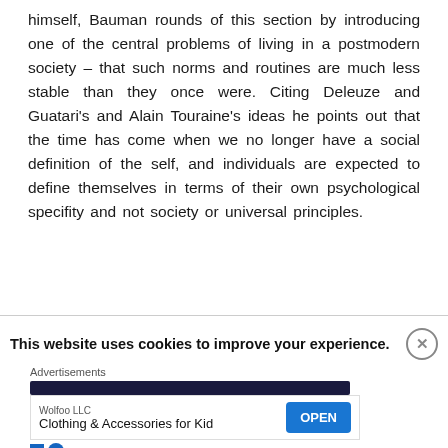himself, Bauman rounds of this section by introducing one of the central problems of living in a postmodern society – that such norms and routines are much less stable than they once were. Citing Deleuze and Guatari's and Alain Touraine's ideas he points out that the time has come when we no longer have a social definition of the self, and individuals are expected to define themselves in terms of their own psychological specifity and not society or universal principles.
This website uses cookies to improve your experience.
Advertisements
[Figure (other): Advertisement banner for Wolfoo LLC - Clothing & Accessories for Kid with an OPEN button]